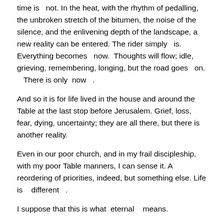time is   not. In the heat, with the rhythm of pedalling, the unbroken stretch of the bitumen, the noise of the silence, and the enlivening depth of the landscape, a new reality can be entered. The rider simply   is.     Everything becomes   now.  Thoughts will flow; idle, grieving, remembering, longing, but the road goes   on.   There is only  now   .
And so it is for life lived in the house and around the Table at the last stop before Jerusalem. Grief, loss, fear, dying, uncertainty; they are all there, but there is another reality.
Even in our poor church, and in my frail discipleship, with my poor Table manners, I can sense it. A reordering of priorities, indeed, but something else. Life is   different  .
I suppose that this is what  eternal    means.
On the long roads in Australia, people occasionally get lost. I don't mean geographically. I mean we go some